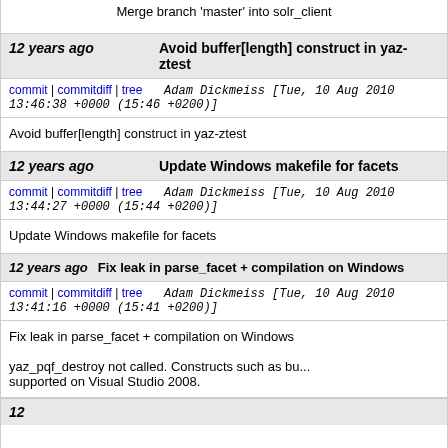Merge branch 'master' into solr_client
12 years ago   Avoid buffer[length] construct in yaz-ztest
commit | commitdiff | tree   Adam Dickmeiss [Tue, 10 Aug 2010 13:46:38 +0000 (15:46 +0200)]
Avoid buffer[length] construct in yaz-ztest
12 years ago   Update Windows makefile for facets
commit | commitdiff | tree   Adam Dickmeiss [Tue, 10 Aug 2010 13:44:27 +0000 (15:44 +0200)]
Update Windows makefile for facets
12 years ago   Fix leak in parse_facet + compilation on Windows
commit | commitdiff | tree   Adam Dickmeiss [Tue, 10 Aug 2010 13:41:16 +0000 (15:41 +0200)]
Fix leak in parse_facet + compilation on Windows

yaz_pqf_destroy not called. Constructs such as bu... supported on Visual Studio 2008.